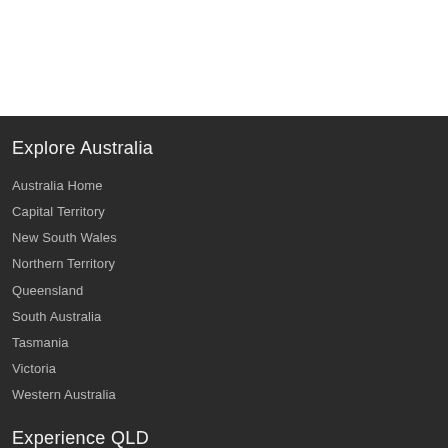Explore Australia
Australia Home
Capital Territory
New South Wales
Northern Territory
Queensland
South Australia
Tasmania
Victoria
Western Australia
Experience QLD